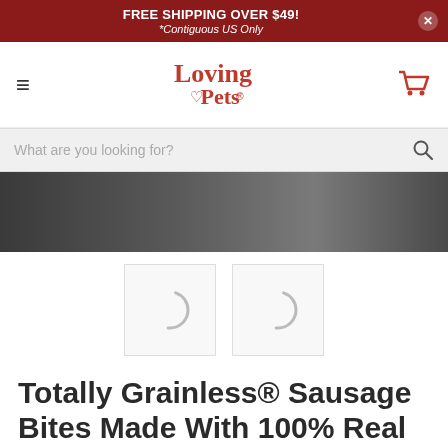FREE SHIPPING OVER $49! *Contiguous US Only
[Figure (logo): Loving Pets logo with heart shape, red serif font]
What are you looking for?
[Figure (photo): Dark close-up product photo (partially visible)]
[Figure (photo): Two product thumbnail images with loading spinners]
Totally Grainless® Sausage Bites Made With 100% Real Chicken & Cranberries